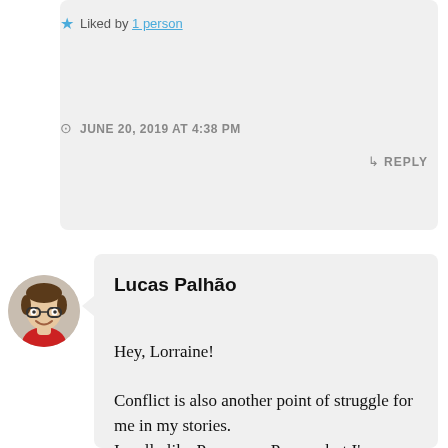★ Liked by 1 person
JUNE 20, 2019 AT 4:38 PM
↳ REPLY
Lucas Palhão
Hey, Lorraine!

Conflict is also another point of struggle for me in my stories.
I really like Person vs. Person, but I'm fascinated by Person vs. Self, even